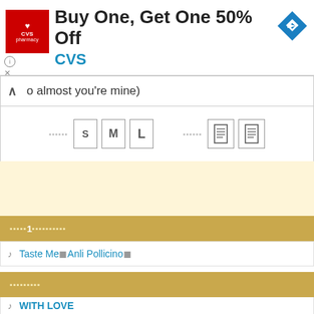[Figure (screenshot): CVS pharmacy ad banner: Buy One, Get One 50% Off]
o almost you're mine)
[Figure (screenshot): Font size controls (S, M, L) and layout controls (two document icons)]
■■■■1■■■■■■■■■
♪ Taste Me■Anli Pollicino■
■■■■■■■■■
♪ WITH LOVE
♪ ■■■■
♪ ■
♪ ■■■■■
♪ ■■■■■■